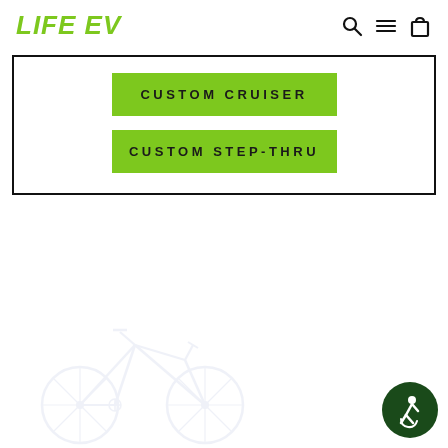LIFE EV
CUSTOM CRUISER
CUSTOM STEP-THRU
[Figure (logo): Faded watermark-style bicycle/e-bike line art illustration in light blue/gray]
[Figure (illustration): Accessibility icon button in dark green circle, bottom right corner]